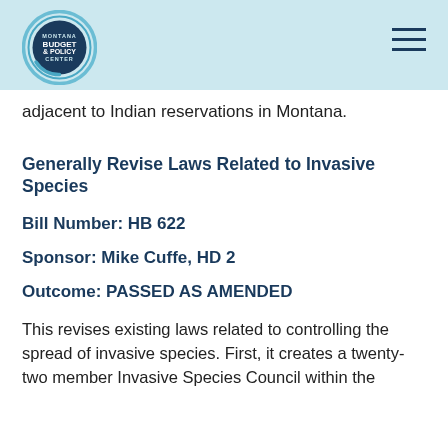[Figure (logo): Montana Budget & Policy Center circular logo with concentric rings on light blue header bar]
adjacent to Indian reservations in Montana.
Generally Revise Laws Related to Invasive Species
Bill Number: HB 622
Sponsor: Mike Cuffe, HD 2
Outcome: PASSED AS AMENDED
This revises existing laws related to controlling the spread of invasive species. First, it creates a twenty-two member Invasive Species Council within the